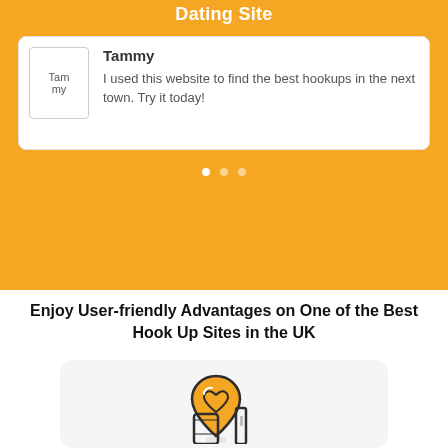Dating Site
Tammy
I used this website to find the best hookups in the next town. Try it today!
Enjoy User-friendly Advantages on One of the Best Hook Up Sites in the UK
[Figure (illustration): Location pin icon with heart shape inside, placed above a smartphone/hand illustration, in orange and dark outline style]